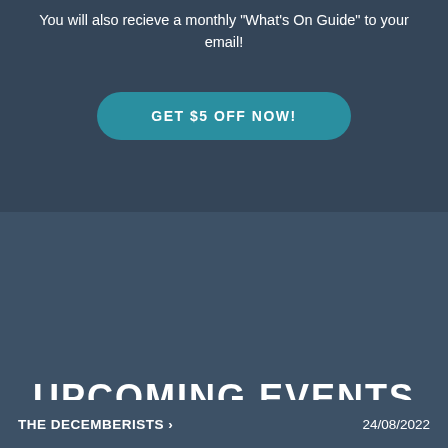You will also recieve a monthly "What's On Guide" to your email!
[Figure (other): Teal rounded rectangle button with text GET $5 OFF NOW!]
UPCOMING EVENTS
THE DECEMBERISTS ›    24/08/2022